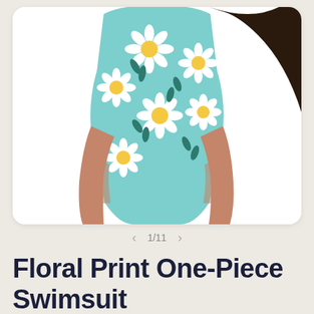[Figure (photo): A woman wearing a light blue one-piece swimsuit with a white daisy floral print and yellow centers, shown from the neck/shoulder area down to mid-thigh against a white background.]
< 1/11 >
Floral Print One-Piece Swimsuit